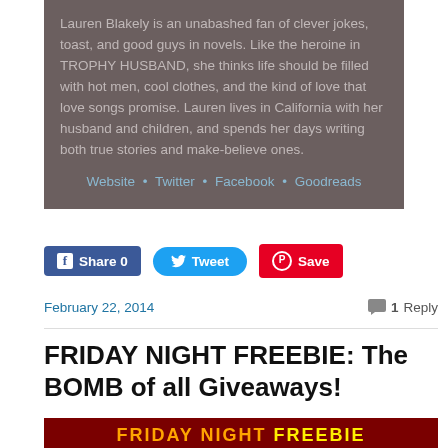Lauren Blakely is an unabashed fan of clever jokes, toast, and good guys in novels. Like the heroine in TROPHY HUSBAND, she thinks life should be filled with hot men, cool clothes, and the kind of love that love songs promise. Lauren lives in California with her husband and children, and spends her days writing both true stories and make-believe ones.
Website • Twitter • Facebook • Goodreads
Share 0  Tweet  Save
February 22, 2014
1 Reply
FRIDAY NIGHT FREEBIE: The BOMB of all Giveaways!
[Figure (illustration): Friday Night Freebie banner image with orange and yellow text on dark red background]